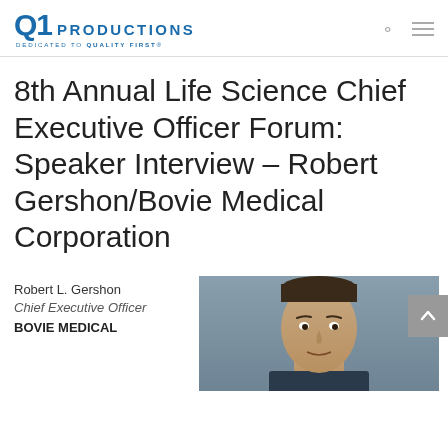[Figure (logo): Q1 Productions logo — blue text with tagline 'DEDICATED TO QUALITY FIRST']
8th Annual Life Science Chief Executive Officer Forum: Speaker Interview – Robert Gershon/Bovie Medical Corporation
Robert L. Gershon
Chief Executive Officer
BOVIE MEDICAL
[Figure (photo): Headshot photo of Robert L. Gershon against a grey background]